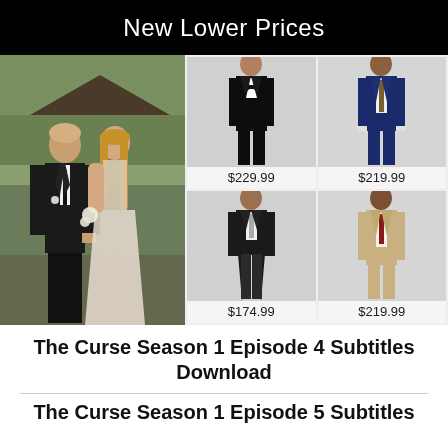New Lower Prices
[Figure (photo): Advertisement showing a couple in formalwear on the left, and a 2x2 grid of male models wearing suits/tuxedos on the right with prices: $229.99 (black tuxedo), $219.99 (navy suit), $174.99 (black tailcoat), $219.99 (tan suit)]
The Curse Season 1 Episode 4 Subtitles Download
The Curse Season 1 Episode 5 Subtitles